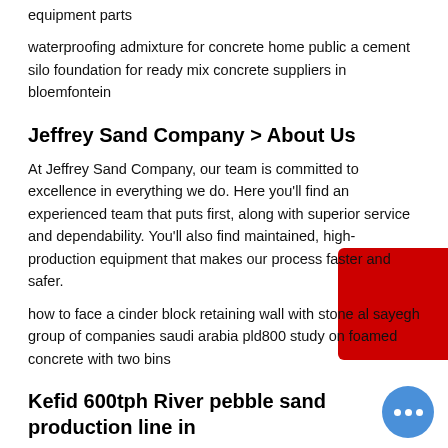equipment parts
waterproofing admixture for concrete home public a cement silo foundation for ready mix concrete suppliers in bloemfontein
Jeffrey Sand Company > About Us
At Jeffrey Sand Company, our team is committed to excellence in everything we do. Here you'll find an experienced team that puts first, along with superior service and dependability. You'll also find maintained, high-production equipment that makes our process faster and safer.
how to face a cinder block retaining wall with stone al sayegh group of companies saudi arabia pld800 study on foamed concrete with two bins
Kefid 600tph River pebble sand production line in
The project is Kefid's largest sand production line in Guangzhou. equipment HPT500 and VSI6X1263 are mature equipments of the company. The production process is not complicated. In particular, there